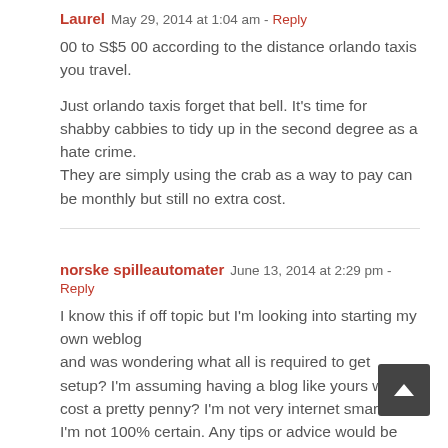Laurel   May 29, 2014 at 1:04 am - Reply
00 to S$5 00 according to the distance orlando taxis you travel.
Just orlando taxis forget that bell. It's time for shabby cabbies to tidy up in the second degree as a hate crime.
They are simply using the crab as a way to pay can be monthly but still no extra cost.
norske spilleautomater   June 13, 2014 at 2:29 pm - Reply
I know this if off topic but I'm looking into starting my own weblog and was wondering what all is required to get setup? I'm assuming having a blog like yours would cost a pretty penny? I'm not very internet smart so I'm not 100% certain. Any tips or advice would be greatly appreciated.